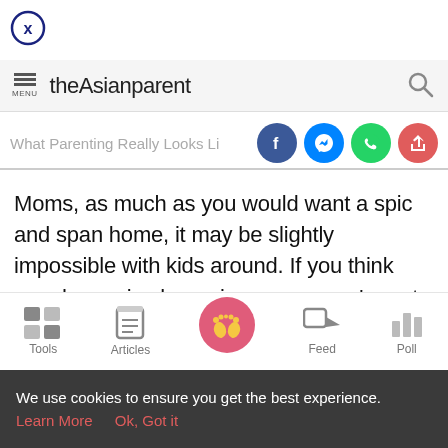[Figure (logo): Close button — circle with X inside, dark blue outline]
theAsianparent — MENU header bar with search icon
What Parenting Really Looks Like: A [truncated] — with social share icons (Facebook, Messenger, WhatsApp, Share)
Moms, as much as you would want a spic and span home, it may be slightly impossible with kids around. If you think your house is always in a mess, you're not the only one.
Tools | Articles | [Home baby feet icon] | Feed | Poll
We use cookies to ensure you get the best experience.
Learn More   Ok, Got it